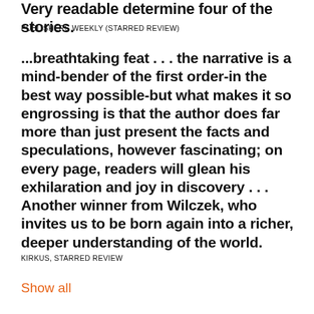Very readable determine four of the stories.
PUBLISHERS WEEKLY (STARRED REVIEW)
...breathtaking feat . . . the narrative is a mind-bender of the first order-in the best way possible-but what makes it so engrossing is that the author does far more than just present the facts and speculations, however fascinating; on every page, readers will glean his exhilaration and joy in discovery . . . Another winner from Wilczek, who invites us to be born again into a richer, deeper understanding of the world.
KIRKUS, STARRED REVIEW
Show all